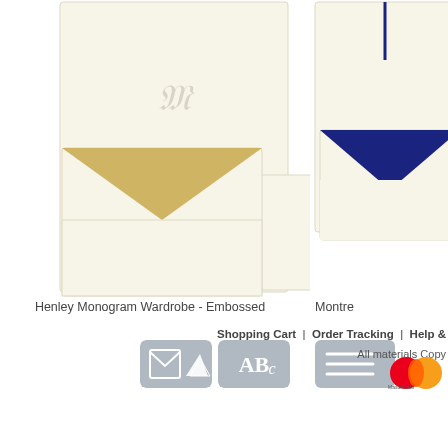[Figure (illustration): Henley Monogram Wardrobe - Embossed product image showing cream/ivory stationery envelopes and notecards with monogram embossing, gold-lined envelope visible]
Henley Monogram Wardrobe - Embossed
[Figure (illustration): Icon buttons: envelope/stamp icon and ABc monogram icon in gray rounded rectangles]
[Figure (illustration): Montre product image (partially visible, cut off on right) showing navy blue envelope liner and cream stationery]
Montre
[Figure (illustration): Partial gray icon button visible on right side]
Shopping Cart  |  Order Tracking  |  Help &
All materials Copy
[Figure (logo): MasterCard logo (red and orange overlapping circles)]